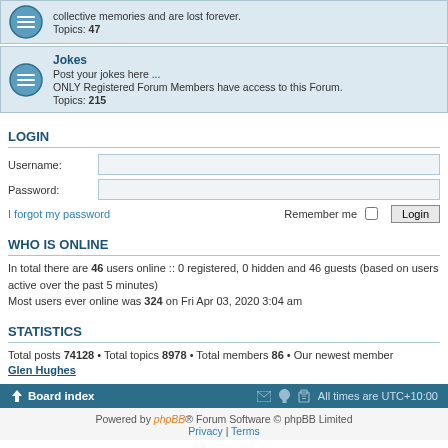collective memories and are lost forever. Topics: 47
Jokes
Post your jokes here ... ONLY Registered Forum Members have access to this Forum. Topics: 215
LOGIN
Username:
Password:
I forgot my password  Remember me  Login
WHO IS ONLINE
In total there are 46 users online :: 0 registered, 0 hidden and 46 guests (based on users active over the past 5 minutes)
Most users ever online was 324 on Fri Apr 03, 2020 3:04 am
STATISTICS
Total posts 74128 • Total topics 8978 • Total members 86 • Our newest member Glen Hughes
Board index  All times are UTC+10:00
Powered by phpBB® Forum Software © phpBB Limited  Privacy | Terms